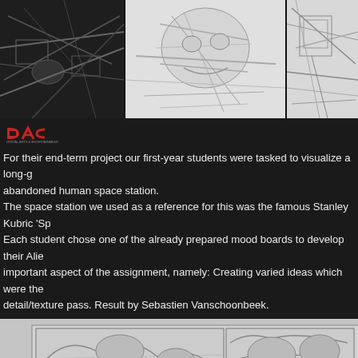[Figure (illustration): Three storyboard/concept art panels at the top: left panel shows dark scene with mechanical/alien elements, middle panel shows close-up of a face or creature in sketch style, right panel shows structural/architectural sketches]
[Figure (logo): DAC logo in red/white text on dark background]
For their end-term project our first-year students were tasked to visualize a long-g abandoned human space station. The space station we used as a reference for this was the famous Stanley Kubric 'Sp Each student chose one of the already prepared mood boards to develop their Alie important aspect of the assignment, namely: Creating varied ideas which were the detail/texture pass. Result by Sebastien Vanschoonbeek.
[Figure (illustration): Large concept art sketches showing alien/post-apocalyptic environment with creatures, overgrown structures, mechanical elements and architectural ruins in pencil sketch style, arranged in a grid layout]